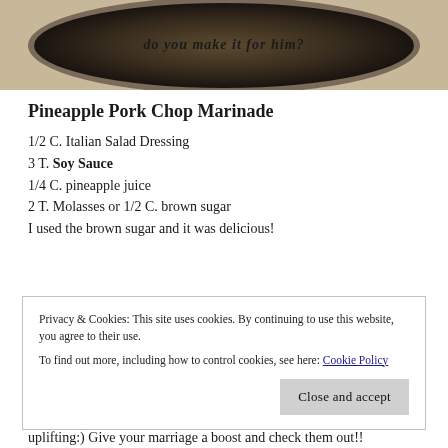[Figure (photo): Photo of a dark marinade in a round pan/bowl viewed from above, with text overlay reading 'do you make it for him?']
Pineapple Pork Chop Marinade
1/2 C. Italian Salad Dressing
3 T. Soy Sauce
1/4 C. pineapple juice
2 T. Molasses or 1/2 C. brown sugar
I used the brown sugar and it was delicious!
Privacy & Cookies: This site uses cookies. By continuing to use this website, you agree to their use.
To find out more, including how to control cookies, see here: Cookie Policy
uplifting:) Give your marriage a boost and check them out!!